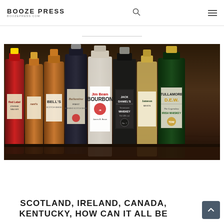BOOZE PRESS boozepress.com
[Figure (photo): A lineup of whiskey bottles on a wooden surface including Johnnie Walker Red Label, Grant's, Bell's, Ballantine's, Jim Beam Bourbon, Jack Daniel's Tennessee Whiskey, Jameson, and Tullamore D.E.W. Irish Whiskey]
SCOTLAND, IRELAND, CANADA, KENTUCKY, HOW CAN IT ALL BE